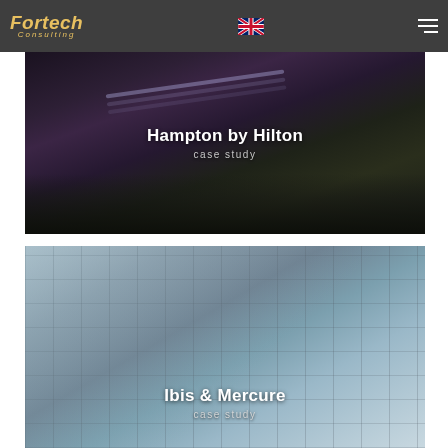Fortech Consulting
[Figure (photo): Exterior night photo of Hampton by Hilton hotel building with purple/dark lighting and light streaks]
Hampton by Hilton
case study
[Figure (photo): Exterior daytime photo of Ibis & Mercure hotel building facade with grey and blue-tinted panels and window grid]
Ibis & Mercure
case study